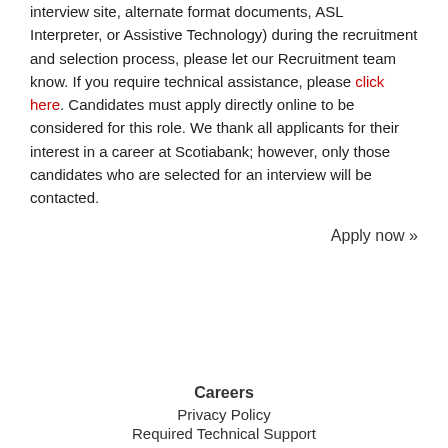interview site, alternate format documents, ASL Interpreter, or Assistive Technology) during the recruitment and selection process, please let our Recruitment team know. If you require technical assistance, please click here. Candidates must apply directly online to be considered for this role. We thank all applicants for their interest in a career at Scotiabank; however, only those candidates who are selected for an interview will be contacted.
Apply now »
Careers
Privacy Policy
Required Technical Support